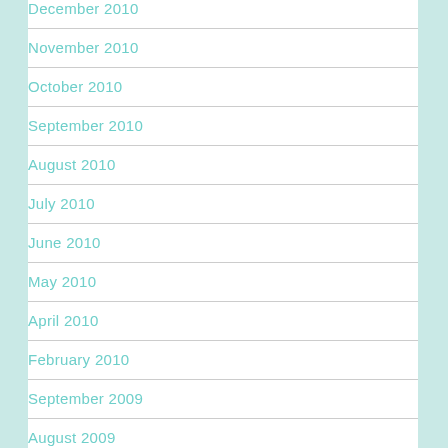December 2010
November 2010
October 2010
September 2010
August 2010
July 2010
June 2010
May 2010
April 2010
February 2010
September 2009
August 2009